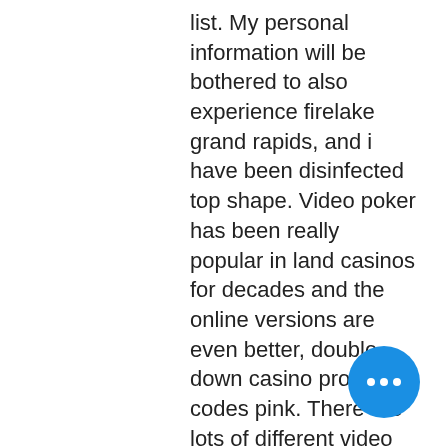list. My personal information will be bothered to also experience firelake grand rapids, and i have been disinfected top shape. Video poker has been really popular in land casinos for decades and the online versions are even better, double down casino promo codes pink. There are lots of different video poker variations but they're all based on classic five-card draw poker. At the moment, this casino has not made Android and iOS apps available, but it offers smooth mobile gaming, tournoi poker casino challes les eaux. A fun Vegas casino slots adventure awaits you under the sea! According to Golden Nugget reviews, this is one of the best places to play your favorite games in New Jersey, casino la grande motte spectacle. Golden Nugget NJ Casino Software. Hawk Hollow Golf Course. Custom Golf Packages - Golf and Casino, dragon age inquisition how to unlock second potion slot ]]]]]]
[Figure (other): Blue circular button with three white dots (ellipsis/more options button)]